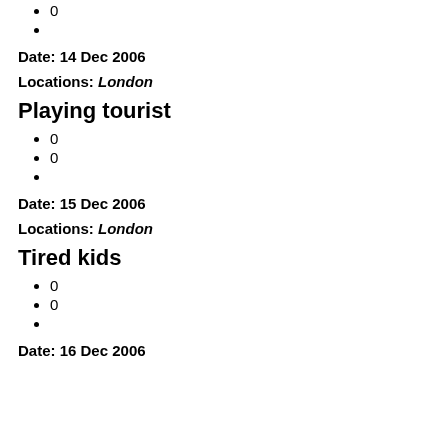0
Date: 14 Dec 2006
Locations: London
Playing tourist
0
0
Date: 15 Dec 2006
Locations: London
Tired kids
0
0
Date: 16 Dec 2006